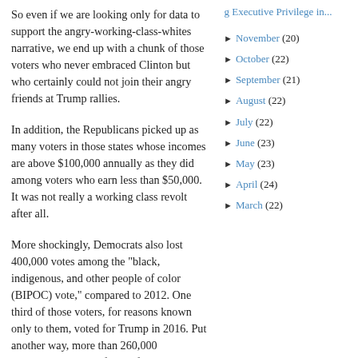So even if we are looking only for data to support the angry-working-class-whites narrative, we end up with a chunk of those voters who never embraced Clinton but who certainly could not join their angry friends at Trump rallies.
In addition, the Republicans picked up as many voters in those states whose incomes are above $100,000 annually as they did among voters who earn less than $50,000.  It was not really a working class revolt after all.
More shockingly, Democrats also lost 400,000 votes among the "black, indigenous, and other people of color (BIPOC) vote," compared to 2012.  One third of those voters, for reasons known only to them, voted for Trump in 2016.  Put another way, more than 260,000 Democratic voters of color fell away in 2016 by not voting or by voting for a third-party candidate.
g Executive Privilege in...
November (20)
October (22)
September (21)
August (22)
July (22)
June (23)
May (23)
April (24)
March (22)